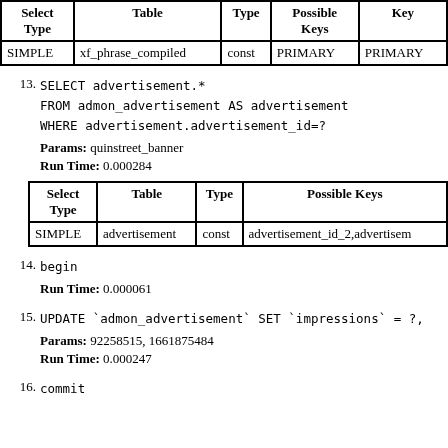| Select Type | Table | Type | Possible Keys | Key |
| --- | --- | --- | --- | --- |
| SIMPLE | xf_phrase_compiled | const | PRIMARY | PRIMARY |
13. SELECT advertisement.*
    FROM admon_advertisement AS advertisement
    WHERE advertisement.advertisement_id=?
    Params: quinstreet_banner
    Run Time: 0.000284
| Select Type | Table | Type | Possible Keys |
| --- | --- | --- | --- |
| SIMPLE | advertisement | const | advertisement_id_2,advertisem... |
14. begin
    Run Time: 0.000061
15. UPDATE `admon_advertisement` SET `impressions` = ?,
    Params: 92258515, 1661875484
    Run Time: 0.000247
16. commit